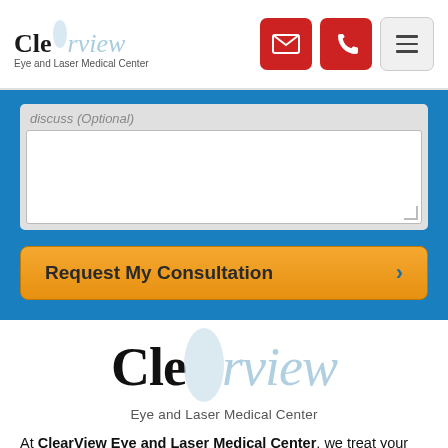[Figure (logo): ClearView Eye and Laser Medical Center logo in header with email, phone, and menu icons]
[Figure (screenshot): Text input area with placeholder text 'discuss (Optional)' and a white textarea box]
Request My Consultation
[Figure (logo): Large ClearView Eye and Laser Medical Center logo centered on white background]
At ClearView Eye and Laser Medical Center, we treat your vision and comfort like our own. We're